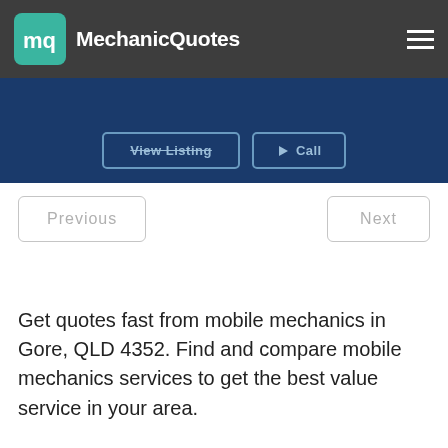MechanicQuotes
[Figure (screenshot): Partially visible blue section with 'View Listing' and 'Call' buttons]
[Figure (screenshot): Navigation Previous and Next buttons]
Get quotes fast from mobile mechanics in Gore, QLD 4352. Find and compare mobile mechanics services to get the best value service in your area.